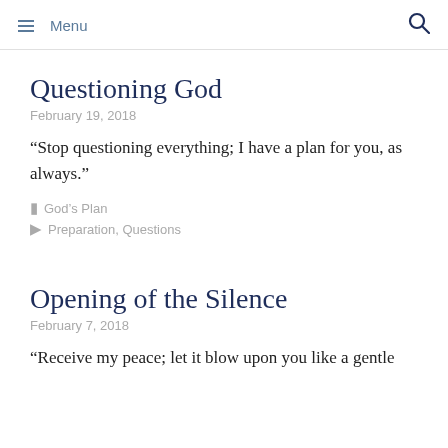Menu
Questioning God
February 19, 2018
“Stop questioning everything; I have a plan for you, as always.”
God’s Plan
Preparation, Questions
Opening of the Silence
February 7, 2018
“Receive my peace; let it blow upon you like a gentle